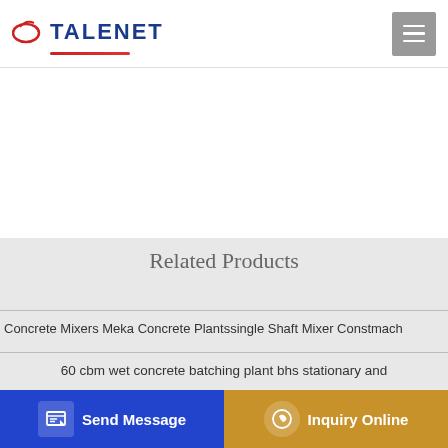TALENET
Related Products
Concrete Mixers Meka Concrete Plantssingle Shaft Mixer Constmach
60 cbm wet concrete batching plant bhs stationary and
MAN TGS 33.440 8x4 concrete pump truck 2008 00 m
LI CONCRETE PUMPING COMPANY Volume Julio C